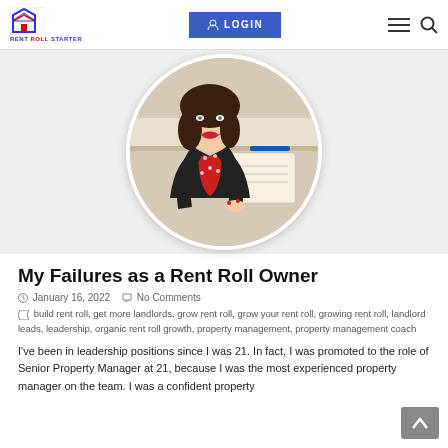RENT ROLL STARTER — LOGIN — navigation
[Figure (photo): Circular profile photo of a woman with dark hair, red lipstick, wearing a black blazer over a red polka-dot top, seated at a desk with a notebook and pen in the background.]
My Failures as a Rent Roll Owner
January 16, 2022   No Comments
build rent roll, get more landlords, grow rent roll, grow your rent roll, growing rent roll, landlord leads, leadership, organic rent roll growth, property management, property management coach
I've been in leadership positions since I was 21. In fact, I was promoted to the role of Senior Property Manager at 21, because I was the most experienced property manager on the team. I was a confident property